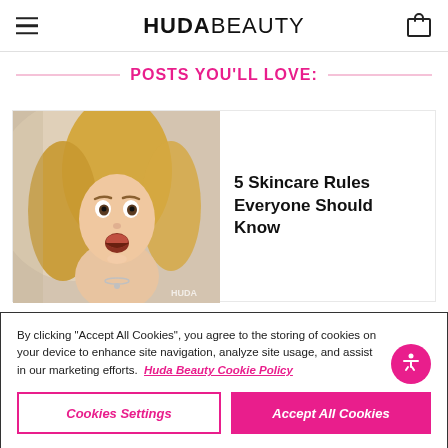HUDA BEAUTY
POSTS YOU'LL LOVE:
[Figure (photo): A surprised-looking young woman with long blonde hair, from the movie Mean Girls, used as thumbnail for skincare article]
5 Skincare Rules Everyone Should Know
By clicking “Accept All Cookies”, you agree to the storing of cookies on your device to enhance site navigation, analyze site usage, and assist in our marketing efforts. Huda Beauty Cookie Policy
Cookies Settings
Accept All Cookies